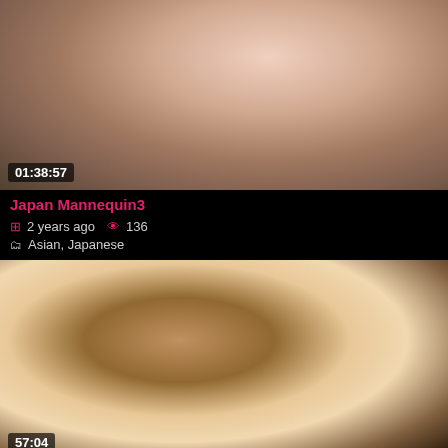[Figure (photo): Video thumbnail showing a blurred adult content scene with duration overlay 01:38:57]
Japan Mannequin3
2 years ago  136
Asian, Japanese
[Figure (photo): Video thumbnail showing a man sitting cross-legged in a white t-shirt on a couch, with graffiti in background, duration overlay 57:04]
'Japan gay clip scene 202'
1 year ago  826